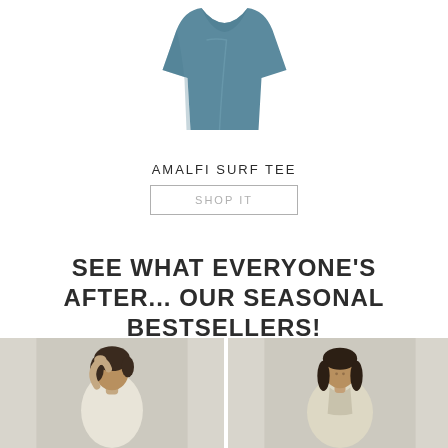[Figure (photo): A folded/draped blue-slate t-shirt on white background, partially cropped at top]
AMALFI SURF TEE
SHOP IT
SEE WHAT EVERYONE'S AFTER... OUR SEASONAL BESTSELLERS!
[Figure (photo): Woman with curly dark hair, hand raised to head, wearing cream/white top, light grey background]
[Figure (photo): Woman with dark hair, wearing cream/beige cardigan, light grey background]